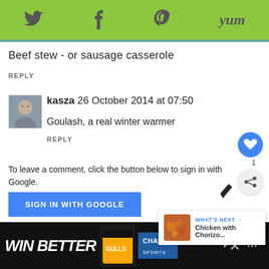[Figure (other): Social sharing toolbar with icons for Twitter, Facebook, Pinterest, and Yum on green background]
Beef stew - or sausage casserole
REPLY
[Figure (photo): User avatar photo for kasza]
kasza 26 October 2014 at 07:50
Goulash, a real winter warmer
REPLY
To leave a comment, click the button below to sign in with Google.
SIGN IN WITH GOOGLE
[Figure (other): Advertisement banner: WIN BETTER with CHAMPS SPORTS branding]
[Figure (other): What's Next overlay showing Chicken with Chorizo...]